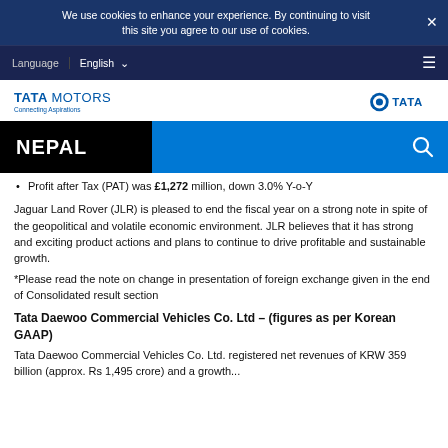We use cookies to enhance your experience. By continuing to visit this site you agree to our use of cookies.
Language  English
[Figure (logo): Tata Motors Connecting Aspirations logo on left; TATA logo on right]
[Figure (screenshot): NEPAL search bar with blue background and search icon]
Profit after Tax (PAT) was £1,272 million, down 3.0% Y-o-Y
Jaguar Land Rover (JLR) is pleased to end the fiscal year on a strong note in spite of the geopolitical and volatile economic environment. JLR believes that it has strong and exciting product actions and plans to continue to drive profitable and sustainable growth.
*Please read the note on change in presentation of foreign exchange given in the end of Consolidated result section
Tata Daewoo Commercial Vehicles Co. Ltd – (figures as per Korean GAAP)
Tata Daewoo Commercial Vehicles Co. Ltd. registered net revenues of KRW 359 billion (approx. Rs 1,495 crore) and a growth...